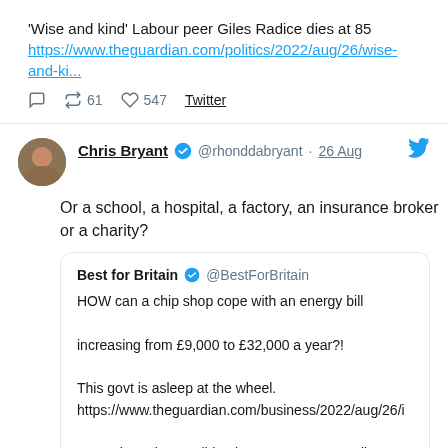'Wise and kind' Labour peer Giles Radice dies at 85 https://www.theguardian.com/politics/2022/aug/26/wise-and-ki...
61 retweets · 547 likes · Twitter
Chris Bryant @rhonddabryant · 26 Aug
Or a school, a hospital, a factory, an insurance broker or a charity?
Best for Britain @BestForBritain · HOW can a chip shop cope with an energy bill increasing from £9,000 to £32,000 a year?! This govt is asleep at the wheel. https://www.theguardian.com/business/2022/aug/26/i-cant-sleep-the-small-business-owners-struggling-to-pay-energy-bills?CMP=Share_iOSApp_Other